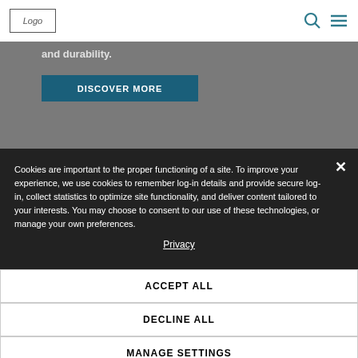Logo | [search icon] [menu icon]
and durability.
DISCOVER MORE
Cookies are important to the proper functioning of a site. To improve your experience, we use cookies to remember log-in details and provide secure log-in, collect statistics to optimize site functionality, and deliver content tailored to your interests. You may choose to consent to our use of these technologies, or manage your own preferences.
Privacy
ACCEPT ALL
DECLINE ALL
MANAGE SETTINGS